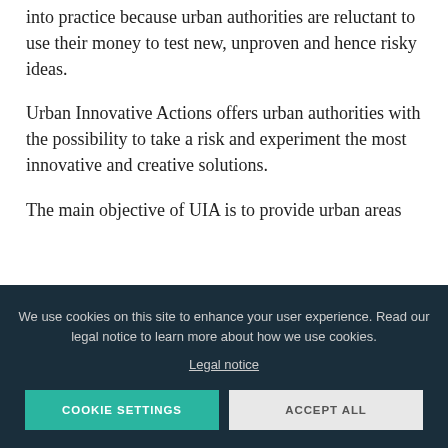into practice because urban authorities are reluctant to use their money to test new, unproven and hence risky ideas.
Urban Innovative Actions offers urban authorities with the possibility to take a risk and experiment the most innovative and creative solutions.
The main objective of UIA is to provide urban areas
We use cookies on this site to enhance your user experience. Read our legal notice to learn more about how we use cookies.
Legal notice
COOKIE SETTINGS
ACCEPT ALL